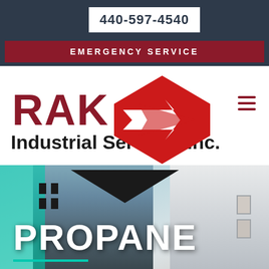440-597-4540
EMERGENCY SERVICE
[Figure (logo): RAK Industrial Services Inc. logo with red diamond arrow graphic and bold red/black text]
[Figure (photo): Modern building exterior shot from below against blue sky with teal overlay on left side]
PROPANE